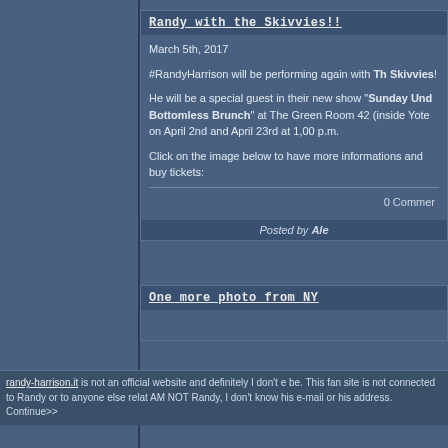Randy with the Skivvies!!
March 5th, 2017
#RandyHarrison will be performing again with The Skivvies!
He will be a special guest in their new show "Sunday Underpants Bottomless Brunch" at The Green Room 42 (inside Yotel) on April 2nd and April 23rd at 1,00 p.m.
Click on the image below to have more informations and buy tickets:
0 Comments
Posted by Ale
One more photo from NY
randy-harrison.it is not an official website and definitely I don't e be. This fan site is not connected to Randy or to anyone else relat AM NOT Randy, I don't know his e-mail or his address. Continue>>